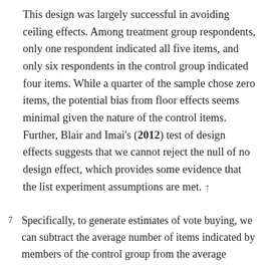This design was largely successful in avoiding ceiling effects. Among treatment group respondents, only one respondent indicated all five items, and only six respondents in the control group indicated four items. While a quarter of the sample chose zero items, the potential bias from floor effects seems minimal given the nature of the control items. Further, Blair and Imai's (2012) test of design effects suggests that we cannot reject the null of no design effect, which provides some evidence that the list experiment assumptions are met. ↑
7  Specifically, to generate estimates of vote buying, we can subtract the average number of items indicated by members of the control group from the average